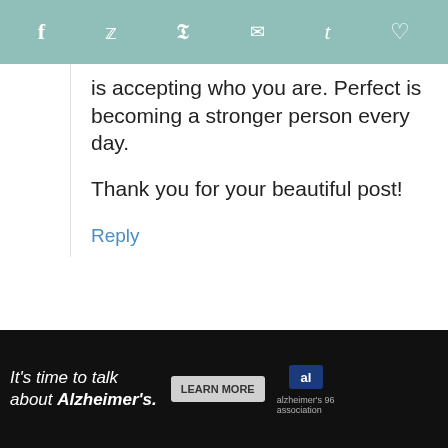Social share bar with icons: Facebook, Twitter, Pinterest, Email, Tumblr, Heart
is accepting who you are. Perfect is becoming a stronger person every day.
Thank you for your beautiful post!
Reply
FitBetty
February 12, 2013 at 7:21 am
[Figure (screenshot): Accessibility widget icon: circular blue badge with wheelchair user symbol and blue arrow]
21
[Figure (infographic): What's Next section with thumbnail and text: How to Grind Your Own...]
[Figure (infographic): Advertisement banner: It's time to talk about Alzheimer's. LEARN MORE. Alzheimer's association logo. X close button.]